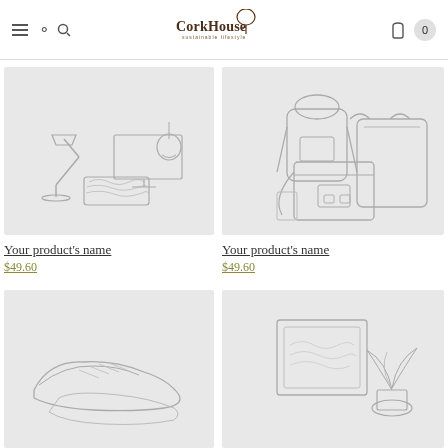CorkHouse Sustainable Lifestyle — navigation header with hamburger, search, logo, cart
[Figure (illustration): Line illustration of a desk lamp, wooden cork table/coaster, monitor, and hanging Edison bulb — home decor scene]
Your product's name
$49.60
[Figure (illustration): Line illustration of a backpack, messenger bag, and tote handbag — accessories scene]
Your product's name
$49.60
[Figure (illustration): Line illustration of shoes/sneakers — partially visible at bottom]
[Figure (illustration): Line illustration of a framed picture and plant — partially visible at bottom]